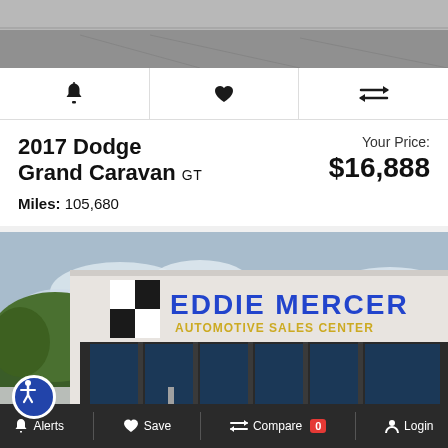[Figure (photo): Top portion of a car photo (gray asphalt/road surface, partial vehicle visible)]
[Figure (infographic): Action bar with bell (alert), heart (save), and compare icons]
2017 Dodge Grand Caravan GT
Your Price: $16,888
Miles: 105,680
[Figure (photo): Eddie Mercer Automotive Sales Center dealership exterior photo with a black sedan in the foreground]
Alerts  Save  Compare 0  Login